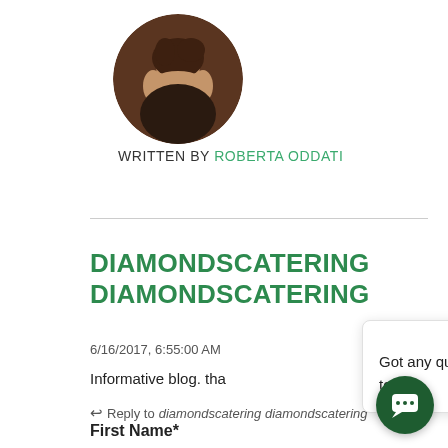[Figure (photo): Circular profile photo of Roberta Oddati, a woman with brown hair and glasses, smiling]
WRITTEN BY ROBERTA ODDATI
DIAMONDSCATERING DIAMONDSCATERING
6/16/2017, 6:55:00 AM
Informative blog. tha…
Reply to diamondscatering diamondscatering
[Figure (screenshot): Chat popup widget with message: Got any questions? I'm happy to help.]
First Name*